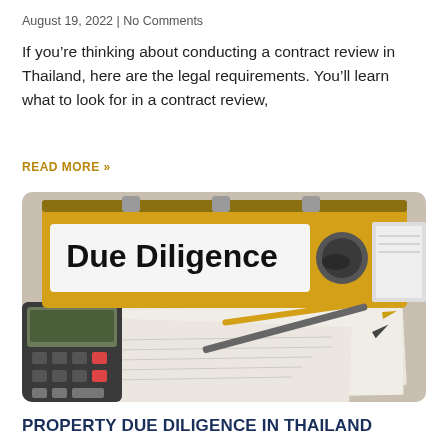August 19, 2022 | No Comments
If you’re thinking about conducting a contract review in Thailand, here are the legal requirements. You’ll learn what to look for in a contract review,
READ MORE »
[Figure (photo): A yellow binder labeled 'Due Diligence' on a desk with a calculator, pens, and documents]
PROPERTY DUE DILIGENCE IN THAILAND